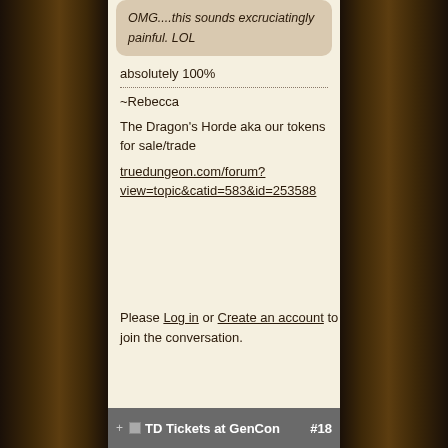OMG....this sounds excruciatingly painful. LOL
absolutely 100%
~Rebecca
The Dragon's Horde aka our tokens for sale/trade
truedungeon.com/forum?view=topic&catid=583&id=253588
Please Log in or Create an account to join the conversation.
TD Tickets at GenCon #18